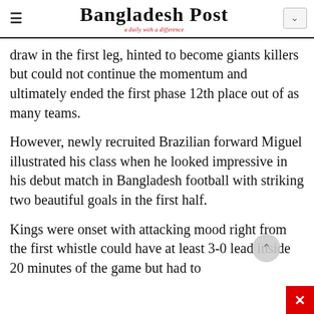Bangladesh Post — a daily with a difference
draw in the first leg, hinted to become giants killers but could not continue the momentum and ultimately ended the first phase 12th place out of as many teams.
However, newly recruited Brazilian forward Miguel illustrated his class when he looked impressive in his debut match in Bangladesh football with striking two beautiful goals in the first half.
Kings were onset with attacking mood right from the first whistle could have at least 3-0 lead inside 20 minutes of the game but had to